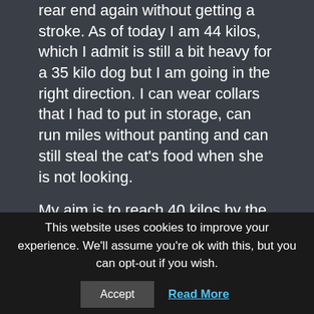rear end again without getting a stroke. As of today I am 44 kilos, which I admit is still a bit heavy for a 35 kilo dog but I am going in the right direction. I can wear collars that I had to put in storage, can run miles without panting and can still steal the cat's food when she is not looking.
My aim is to reach 40 kilos by the end of the summer and enter ‘Slimmer of the Year 2018’. The prize is a year’s supply of dog food and I aim to eat the whole lot in one month. So thanks to my good friend Kieran, the vet for embarrassing me into this life style change and I know that I would not have done it
This website uses cookies to improve your experience. We'll assume you're ok with this, but you can opt-out if you wish.